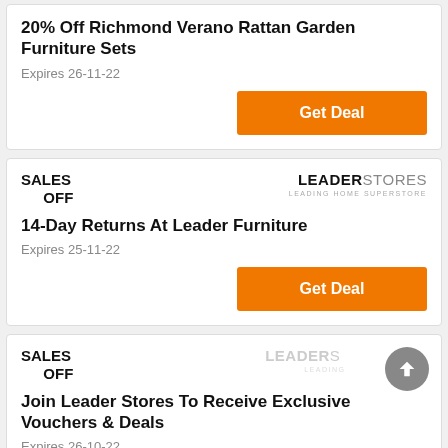20% Off Richmond Verano Rattan Garden Furniture Sets
Expires 26-11-22
Get Deal
SALES OFF
[Figure (logo): Leader Stores - Leading Home Superstore logo]
14-Day Returns At Leader Furniture
Expires 25-11-22
Get Deal
SALES OFF
[Figure (logo): Leader Stores faded logo with scroll-up arrow button]
Join Leader Stores To Receive Exclusive Vouchers & Deals
Expires 26-10-22